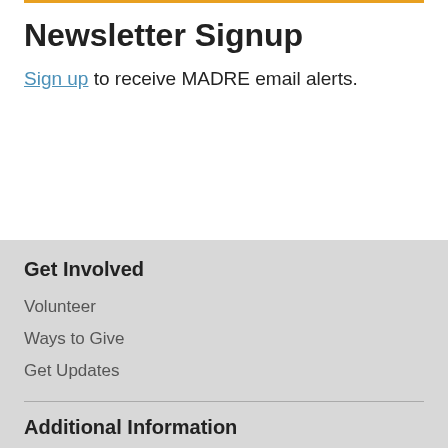Newsletter Signup
Sign up to receive MADRE email alerts.
Get Involved
Volunteer
Ways to Give
Get Updates
Additional Information